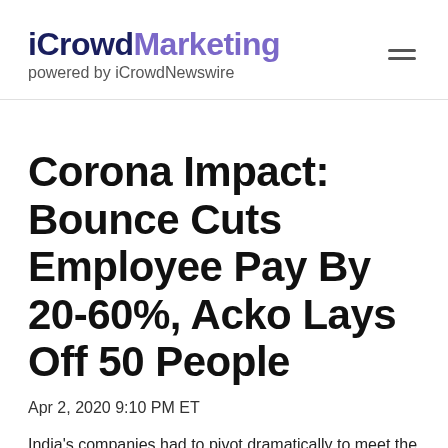iCrowdMarketing powered by iCrowdNewswire
Corona Impact: Bounce Cuts Employee Pay By 20-60%, Acko Lays Off 50 People
Apr 2, 2020 9:10 PM ET
India's companies had to pivot dramatically to meet the